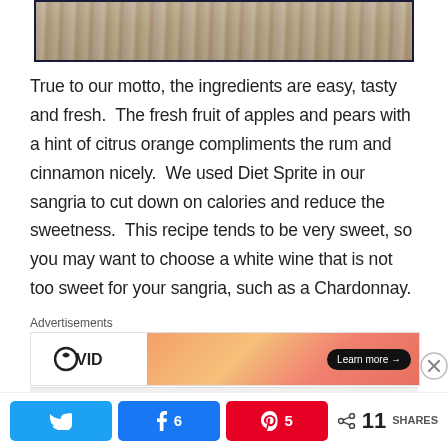[Figure (photo): Partial top of a framed photo showing wood texture and sandy/stone background, cropped at top of page]
True to our motto, the ingredients are easy, tasty and fresh.  The fresh fruit of apples and pears with a hint of citrus orange compliments the rum and cinnamon nicely.  We used Diet Sprite in our sangria to cut down on calories and reduce the sweetness.  This recipe tends to be very sweet, so you may want to choose a white wine that is not too sweet for your sangria, such as a Chardonnay.
[Figure (screenshot): Advertisement banner: WVid logo on left, orange/pink gradient image on right with 'Learn more →' button]
Advertisements
Advertisements
[Figure (infographic): Social share bar with Twitter, Facebook (6), Pinterest (5) buttons and 11 SHARES total]